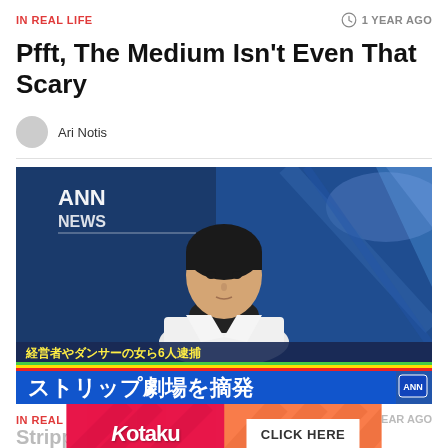IN REAL LIFE | 1 YEAR AGO
Pfft, The Medium Isn't Even That Scary
Ari Notis
[Figure (photo): ANN News broadcast screenshot showing a female Japanese news anchor at a desk. At the bottom, a Japanese news chyron reads: 経営者やダンサーの女ら6人逮捕 (top line) and ストリップ劇場を摘発 ANN (main lower chyron)]
IN REAL LIFE | Stripp...
[Figure (other): Kotaku advertisement banner with 'KOTAKU' logo on the left and 'CLICK HERE' button on the right, with diagonal stripe pattern]